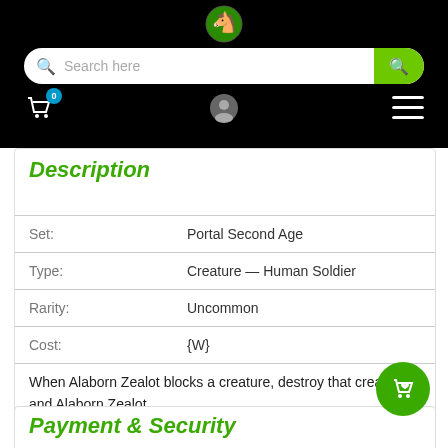[Figure (logo): Green circular logo with horse/pegasus icon on black navigation bar]
[Figure (screenshot): Search bar with magnifying glass icon left, placeholder 'Search here', green search button on right]
[Figure (screenshot): Nav icons: shopping cart with badge '0', user profile icon, hamburger menu on black bar]
Description
|  |  |
| --- | --- |
| Set: | Portal Second Age |
| Type: | Creature — Human Soldier |
| Rarity: | Uncommon |
| Cost: | {W} |
When Alaborn Zealot blocks a creature, destroy that creature and Alaborn Zealot.
Payment & Security